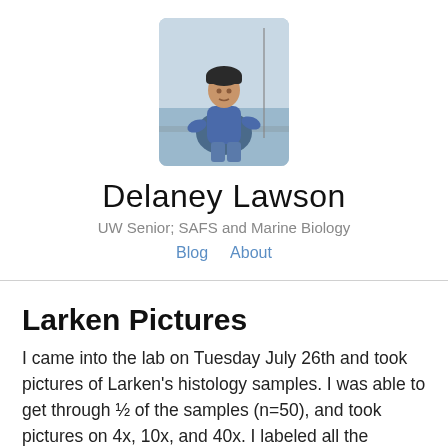[Figure (photo): Profile photo of Delaney Lawson, a person in a blue jacket on a boat with water in the background, rounded rectangle crop]
Delaney Lawson
UW Senior; SAFS and Marine Biology
Blog   About
Larken Pictures
I came into the lab on Tuesday July 26th and took pictures of Larken's histology samples. I was able to get through ½ of the samples (n=50), and took pictures on 4x, 10x, and 40x. I labeled all the pictures and tried to upload them to this owl file. However, I